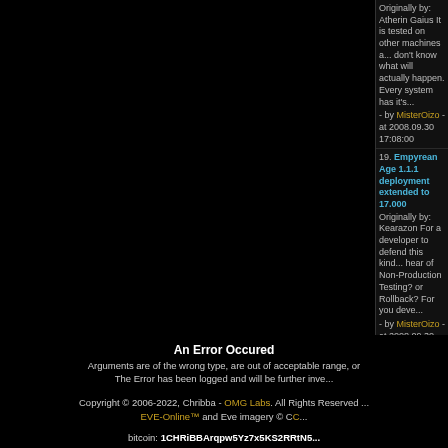Originally by: Atherin Gaius It is tested on other machines and... don't know what will actually happen. Every system has it's... - by MisterOizo - at 2008.09.30 17:08:00
19. Empyrean Age 1.1.1 deployment extended to 17.000... Originally by: Kearazon For a developer to defend this kind... hear of Non-Production Testing? or Rollback? For you deve... - by MisterOizo - at 2008.09.30 16:58:00
20. Empyrean Age 1.1.1 deployment extended to 17.000... Originally by: Jerald Lutney Okay, everyone who has alread... whining and complaining, go out and learn how to program:... - by MisterOizo - at 2008.09.30 16:51:00
An Error Occured
Arguments are of the wrong type, are out of acceptable range, or...
The Error has been logged and will be further inve...
Copyright © 2006-2022, Chribba - OMG Labs. All Rights Reserved...
EVE-Online™ and Eve imagery © CC...
bitcoin: 1CHRiBBArqpw5Yz7x5KS2RRtN5...
COPYRIGHT NOTICE
EVE Online, the EVE logo, EVE and all associated logos and designs are the intellectual propert... storylines, world facts or other recognizable features of the intellectual property relating to these trad... Online and the EVE logo are the registered trademarks of CCP hf. All rights are reserved worldwi... owners. CCP hf. has granted permission to EVE-Search.com to use EVE Online and all associated lo... its website but does not endorse, and is not in any way affiliated with, EVE-Search.com. CCP is in... website, nor can it be liable for any damage arising from the use of this website.